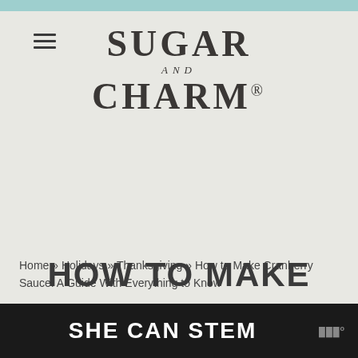[Figure (logo): Sugar and Charm website logo with hamburger menu icon]
SEARCH THIS WEBSITE
Home » Holidays » Thanksgiving » How to Make Cranberry Sauce: A Guide With Everything to Know
HOW TO MAKE
[Figure (other): SHE CAN STEM advertisement banner at the bottom of the page]